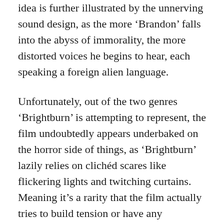idea is further illustrated by the unnerving sound design, as the more ‘Brandon’ falls into the abyss of immorality, the more distorted voices he begins to hear, each speaking a foreign alien language.
Unfortunately, out of the two genres ‘Brightburn’ is attempting to represent, the film undoubtedly appears underbaked on the horror side of things, as ‘Brightburn’ lazily relies on clichéd scares like flickering lights and twitching curtains. Meaning it’s a rarity that the film actually tries to build tension or have any frightening occurrences outside of loud jump-scares or the admittedly gruesome ways ‘Brandon’ disposes of his victims.
In conclusion, between the red cape and blazing heat-vision, ‘Brightburn’ is a film that knows exactly what it